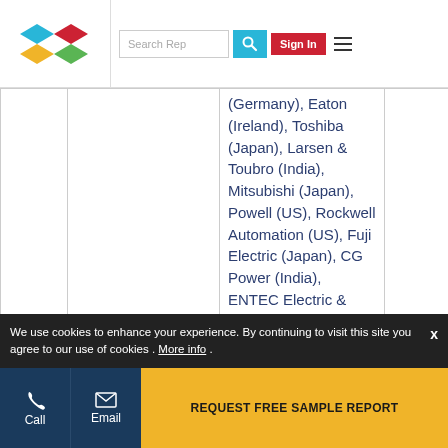Search Rep | Sign In
|  |  | (Germany), Eaton (Ireland), Toshiba (Japan), Larsen & Toubro (India), Mitsubishi (Japan), Powell (US), Rockwell Automation (US), Fuji Electric (Japan), CG Power (India), ENTEC Electric & Electronics (South Korea), and |  |
We use cookies to enhance your experience. By continuing to visit this site you agree to our use of cookies . More info
Call | Email | REQUEST FREE SAMPLE REPORT